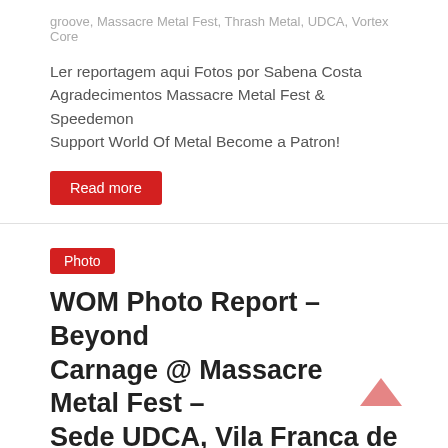groove, Massacre Metal Fest, Thrash Metal, UDCA, Vortex Core
Ler reportagem aqui Fotos por Sabena Costa Agradecimentos Massacre Metal Fest & Speedemon Support World Of Metal Become a Patron!
Read more
Photo
WOM Photo Report – Beyond Carnage @ Massacre Metal Fest – Sede UDCA, Vila Franca de Xira – 07.12.19
Maio 22, 2020   Fernando Ferreira   0 Comments
Beyond Carnage, Death Metal, Massacre Metal Fest, UDCA
Ler reportagem aqui Fotos por Sabena Costa